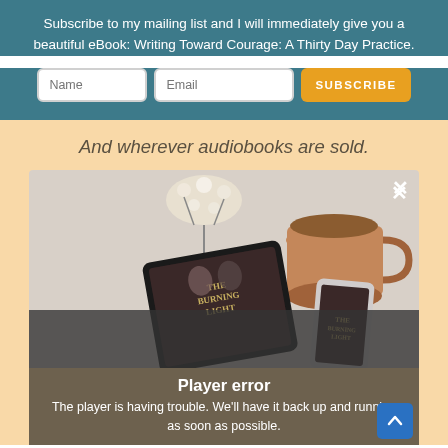Subscribe to my mailing list and I will immediately give you a beautiful eBook: Writing Toward Courage: A Thirty Day Practice.
[Figure (screenshot): Email subscription form with Name input, Email input, and orange SUBSCRIBE button on teal background]
And wherever audiobooks are sold.
[Figure (photo): A photo of a tablet showing 'The Burning Light' book cover alongside a smartphone and a coffee mug with flowers, overlaid with a dark Player error message: 'Player error - The player is having trouble. We'll have it back up and running as soon as possible.' and an X close button. A blue scroll-to-top arrow button in the bottom right.]